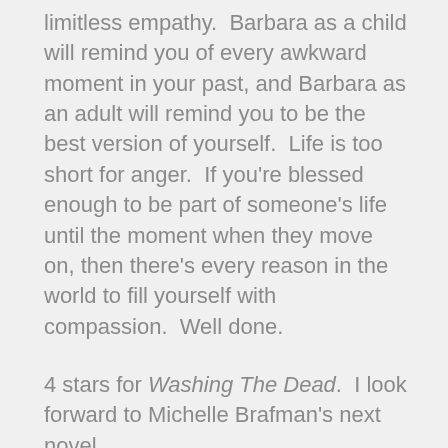limitless empathy.  Barbara as a child will remind you of every awkward moment in your past, and Barbara as an adult will remind you to be the best version of yourself.  Life is too short for anger.  If you're blessed enough to be part of someone's life until the moment when they move on, then there's every reason in the world to fill yourself with compassion.  Well done.
4 stars for Washing The Dead.  I look forward to Michelle Brafman's next novel.